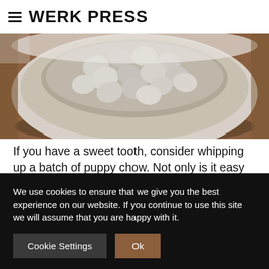WERK PRESS
[Figure (photo): A bowl filled with puppy chow (chocolate peanut butter powder-coated Chex mix) on a wooden surface, viewed from above.]
If you have a sweet tooth, consider whipping up a batch of puppy chow. Not only is it easy to make in large batches meaning you can set some aside for later. it can also be sealed away in an airtight bag to maintain maximum freshness for days or even weeks. The recipe is super simple, requiring only three cups of Chex mix, six tablespoons of chocolate peanut butter and one scoop of your favorite whey powder. Not only is this snack tasty,
We use cookies to ensure that we give you the best experience on our website. If you continue to use this site we will assume that you are happy with it.